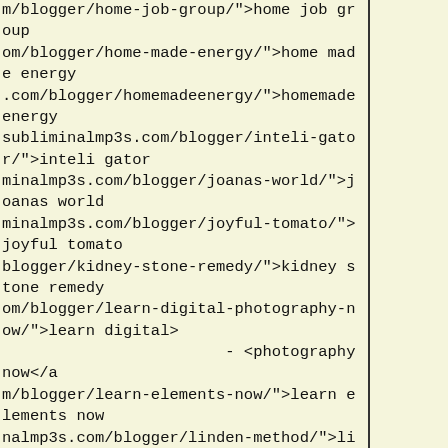m/blogger/home-job-group/">home job group</a>
om/blogger/home-made-energy/">home made energy</a>
.com/blogger/homemadeenergy/">homemadeenergy</a>
subliminalmp3s.com/blogger/inteli-gator/">inteli gator</a>
minalmp3s.com/blogger/joanas-world/">joanas world</a>
minalmp3s.com/blogger/joyful-tomato/">joyful tomato</a>
blogger/kidney-stone-remedy/">kidney stone remedy</a>
om/blogger/learn-digital-photography-now/">learn digital> - <photography now</a>
m/blogger/learn-elements-now/">learn elements now</a>
nalmp3s.com/blogger/linden-method/">linden method</a>
np3s.com/blogger/lose-man-boobs/">lose man boobs</a>
blogger/malware-removal-bot/">malware removal bot</a>
nalmp3s.com/blogger/maternity-acupressure/">maternity> - <acupressure</a>
logger/maternityacupressure/">maternityacupressure</a>
 -
p3s.com/blogger/meet-your-sweet/">meet your sweet</a>
s.com/blogger/muscle-gaining-secrets/">muscle gaining> - <secrets</a>
3s.com/blogger/muscle-gain-truth/">muscle gain truth</a>
3s.com/blogger/niche-adsense-themes/">niche adsense> - <themes</a>
almp3s.com/blogger/ninety-day-powerseller/">ninety day> - <powerseller</a>
p3s.com/blogger/pc-optimizer-pro/">pc optimizer pro</a>
.com/blogger/pregnancy-miracle/">pregnancy miracle</a>
blogger/pregnancy-without-pounds/">pregnancy without> - <pounds</a>
almp3s.com/blogger/privacy-control/">privacy control</a>
.com/blogger/public-records-pro/">public records pro</a>